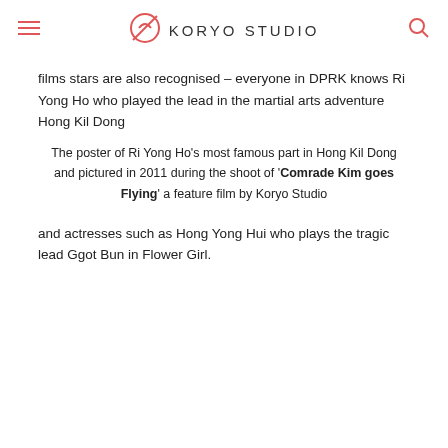KORYO STUDIO
films stars are also recognised – everyone in DPRK knows Ri Yong Ho who played the lead in the martial arts adventure Hong Kil Dong
The poster of Ri Yong Ho's most famous part in Hong Kil Dong and pictured in 2011 during the shoot of 'Comrade Kim goes Flying' a feature film by Koryo Studio
and actresses such as Hong Yong Hui who plays the tragic lead Ggot Bun in Flower Girl.